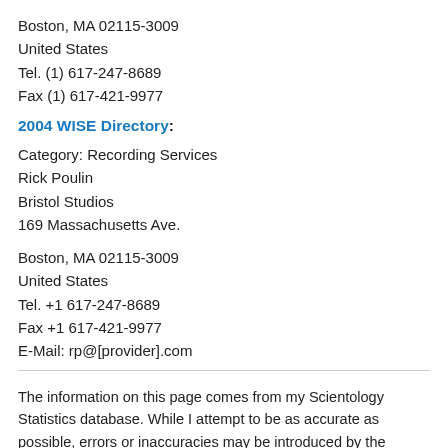Boston, MA 02115-3009
United States
Tel. (1) 617-247-8689
Fax (1) 617-421-9977
2004 WISE Directory:
Category: Recording Services
Rick Poulin
Bristol Studios
169 Massachusetts Ave.

Boston, MA 02115-3009
United States
Tel. +1 617-247-8689
Fax +1 617-421-9977
E-Mail: rp@[provider].com
The information on this page comes from my Scientology Statistics database. While I attempt to be as accurate as possible, errors or inaccuracies may be introduced by the source material, the transcription process, or database bugs. If you discover an error or